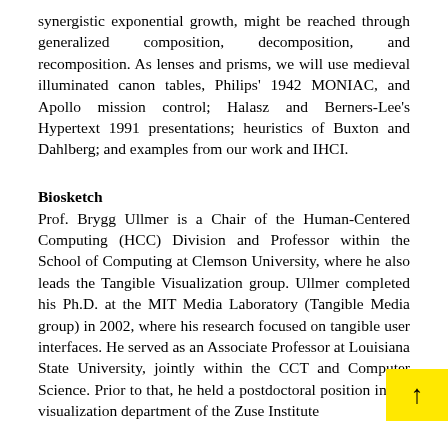synergistic exponential growth, might be reached through generalized composition, decomposition, and recomposition. As lenses and prisms, we will use medieval illuminated canon tables, Philips' 1942 MONIAC, and Apollo mission control; Halasz and Berners-Lee's Hypertext 1991 presentations; heuristics of Buxton and Dahlberg; and examples from our work and IHCI.
Biosketch
Prof. Brygg Ullmer is a Chair of the Human-Centered Computing (HCC) Division and Professor within the School of Computing at Clemson University, where he also leads the Tangible Visualization group. Ullmer completed his Ph.D. at the MIT Media Laboratory (Tangible Media group) in 2002, where his research focused on tangible user interfaces. He served as an Associate Professor at Louisiana State University, jointly within the CCT and Computer Science. Prior to that, he held a postdoctoral position in the visualization department of the Zuse Institute